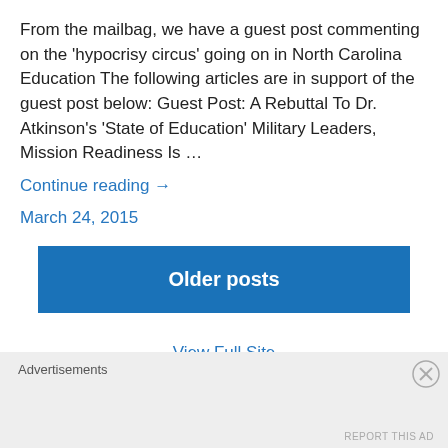From the mailbag, we have a guest post commenting on the 'hypocrisy circus' going on in North Carolina Education The following articles are in support of the guest post below: Guest Post: A Rebuttal To Dr. Atkinson’s ‘State of Education’ Military Leaders, Mission Readiness Is …
Continue reading →
March 24, 2015
Older posts
View Full Site
Advertisements
REPORT THIS AD